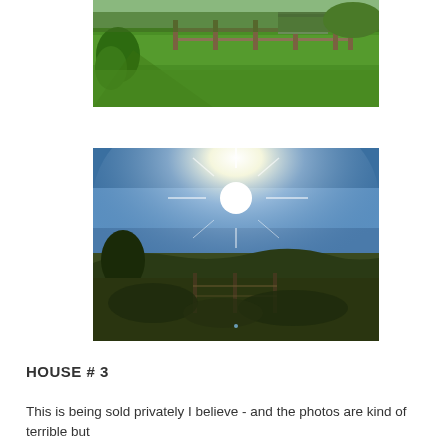[Figure (photo): Outdoor photo of a green grassy field with a wooden fence and a small structure in the background, trees visible on the left, taken on a sunny day.]
[Figure (photo): Outdoor photo taken looking toward a bright sun in a blue sky, with silhouetted trees and shrubs in the foreground and a rural landscape in the background.]
HOUSE # 3
This is being sold privately I believe - and the photos are kind of terrible but